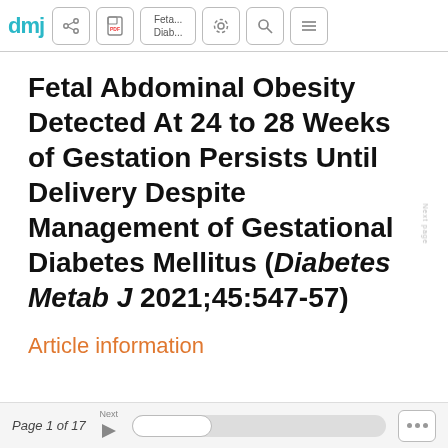dmj | Feta... Diab...
Fetal Abdominal Obesity Detected At 24 to 28 Weeks of Gestation Persists Until Delivery Despite Management of Gestational Diabetes Mellitus (Diabetes Metab J 2021;45:547-57)
Article information
Page 1 of 17